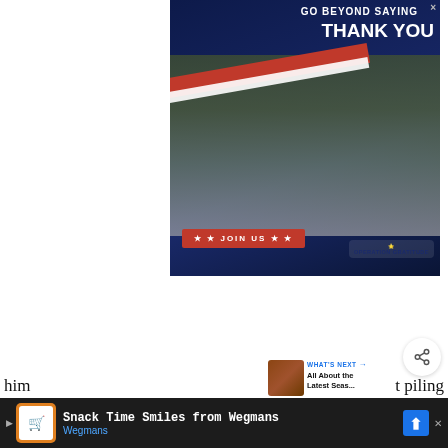[Figure (photo): Operation Gratitude advertisement banner showing a military service member in camouflage uniform and tan cap receiving/exchanging a white box with a civilian woman in black, with text 'GO BEYOND SAYING THANK YOU', a red 'JOIN US' button, and the Operation Gratitude logo on a dark blue background.]
[Figure (other): Heart/like button (blue circle with heart icon), count '1', and share button (white circle with share icon)]
[Figure (photo): WHAT'S NEXT thumbnail with text 'All About the Latest Seas...' and a small amber/brown thumbnail image]
As Daniel and Alicia go looking for Chris, Nick
[Figure (other): Bottom advertisement strip with Wegmans 'Snack Time Smiles from Wegmans' ad including orange logo, blue arrow navigation button, play button, and close X]
stu o save him t piling